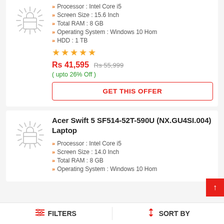Processor : Intel Core i5
Screen Size : 15.6 Inch
Total RAM : 8 GB
Operating System : Windows 10 Hom
HDD : 1 TB
Rs 41,595  Rs 55,999  ( upto 26% Off )
GET THIS OFFER
Acer Swift 5 SF514-52T-590U (NX.GU4SI.004) Laptop
Processor : Intel Core i5
Screen Size : 14.0 Inch
Total RAM : 8 GB
Operating System : Windows 10 Hom
FILTERS    SORT BY